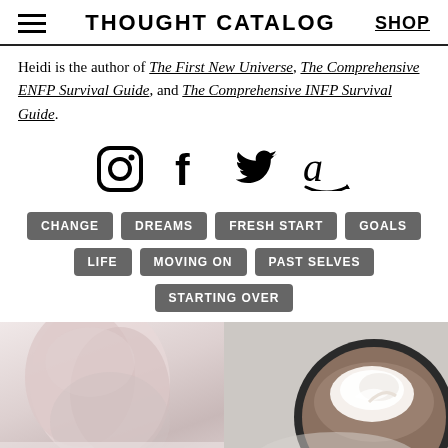THOUGHT CATALOG | SHOP
Heidi is the author of The First New Universe, The Comprehensive ENFP Survival Guide, and The Comprehensive INFP Survival Guide.
[Figure (infographic): Social media icons: Instagram, Facebook, Twitter, Amazon]
CHANGE
DREAMS
FRESH START
GOALS
LIFE
MOVING ON
PAST SELVES
STARTING OVER
[Figure (photo): Two photos side by side: left shows a person with light pink/blonde hair, right shows a dark bowl with whipped cream on top]